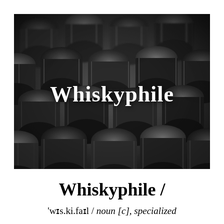[Figure (photo): Black and white photograph of rows of wooden whisky barrels stacked on top of each other in a warehouse, with the word 'Whiskyphile' overlaid in large bold white serif text]
Whiskyphile /
'wɪs.ki.faɪl / noun [c], specialized